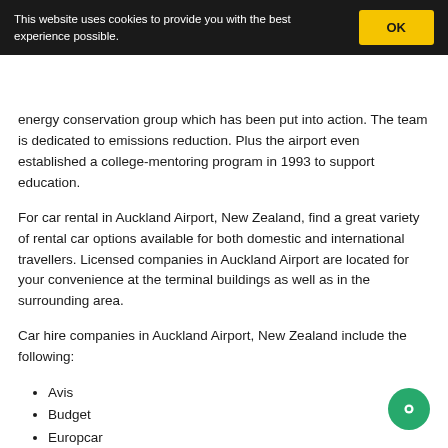This website uses cookies to provide you with the best experience possible. OK
energy conservation group which has been put into action. The team is dedicated to emissions reduction. Plus the airport even established a college-mentoring program in 1993 to support education.
For car rental in Auckland Airport, New Zealand, find a great variety of rental car options available for both domestic and international travellers. Licensed companies in Auckland Airport are located for your convenience at the terminal buildings as well as in the surrounding area.
Car hire companies in Auckland Airport, New Zealand include the following:
Avis
Budget
Europcar
Thrifty
Hertz
Ace Rental Cars
Apex Car Rentals
Acer Rentals (partially visible)